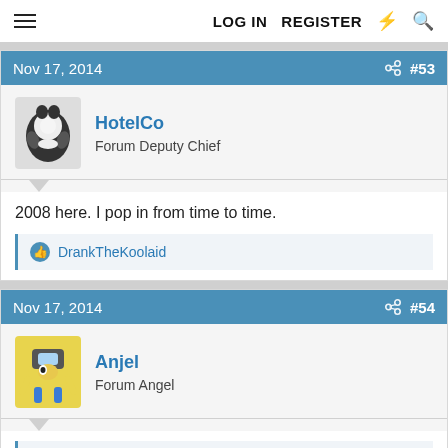LOG IN  REGISTER
Nov 17, 2014  #53
HotelCo
Forum Deputy Chief
2008 here. I pop in from time to time.
DrankTheKoolaid
Nov 17, 2014  #54
Anjel
Forum Angel
HotelCo said: